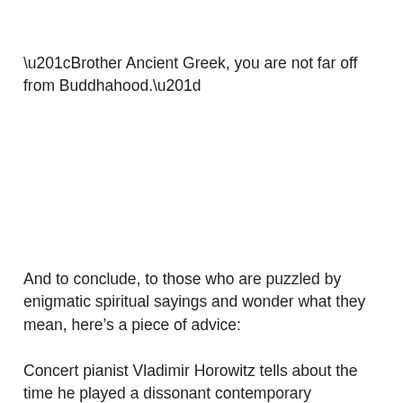“Brother Ancient Greek, you are not far off from Buddhahood.”
And to conclude, to those who are puzzled by enigmatic spiritual sayings and wonder what they mean, here’s a piece of advice:
Concert pianist Vladimir Horowitz tells about the time he played a dissonant contemporary composition at a private